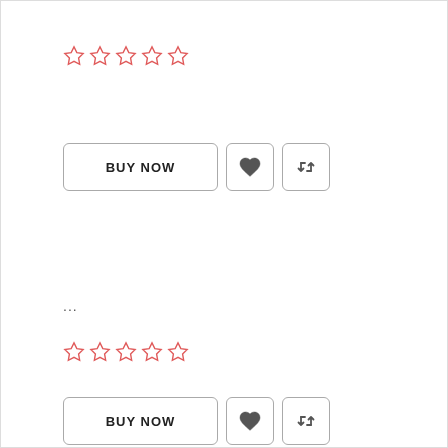[Figure (other): Five empty star rating icons in red/pink outline]
[Figure (other): Three buttons: BUY NOW button, heart icon button, retweet/share icon button]
...
[Figure (other): Five empty star rating icons in red/pink outline]
[Figure (other): Three buttons: BUY NOW button, heart icon button, retweet/share icon button]